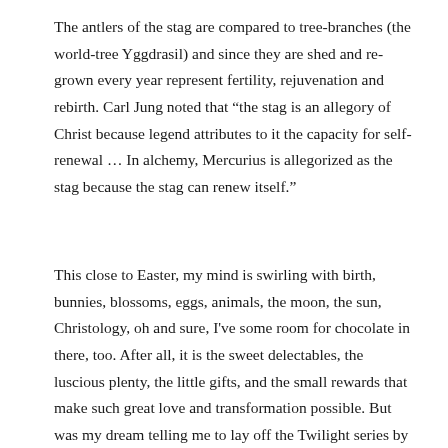The antlers of the stag are compared to tree-branches (the world-tree Yggdrasil) and since they are shed and re-grown every year represent fertility, rejuvenation and rebirth. Carl Jung noted that “the stag is an allegory of Christ because legend attributes to it the capacity for self-renewal … In alchemy, Mercurius is allegorized as the stag because the stag can renew itself.”
This close to Easter, my mind is swirling with birth, bunnies, blossoms, eggs, animals, the moon, the sun, Christology, oh and sure, I've some room for chocolate in there, too. After all, it is the sweet delectables, the luscious plenty, the little gifts, and the small rewards that make such great love and transformation possible. But was my dream telling me to lay off the Twilight series by conjuring a vampire deer? Was I truly dead? Rutting? No—I'd like to think it's the